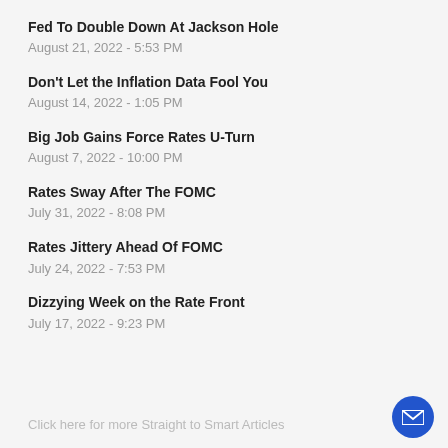Fed To Double Down At Jackson Hole
August 21, 2022 - 5:53 PM
Don't Let the Inflation Data Fool You
August 14, 2022 - 1:05 PM
Big Job Gains Force Rates U-Turn
August 7, 2022 - 10:00 PM
Rates Sway After The FOMC
July 31, 2022 - 8:08 PM
Rates Jittery Ahead Of FOMC
July 24, 2022 - 7:53 PM
Dizzying Week on the Rate Front
July 17, 2022 - 9:23 PM
Click here for more Straight to Smart Articles